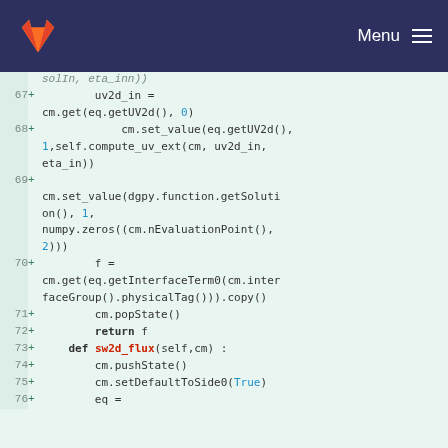GitLab | Menu
[Figure (screenshot): Code diff view showing lines 67-76 of a Python source file with added lines (marked with +) on a green background. Lines include Python code for uv2d_in, cm.set_value, cm.popState, return f, def sw2d_flux, cm.pushState, cm.setDefaultToSide0, eq.]
solIn, eta_inn))
67 + uv2d_in = cm.get(eq.getUV2d(), 0)
68 + cm.set_value(eq.getUV2d(), 1,self.compute_uv_ext(cm, uv2d_in, eta_in))
69 + cm.set_value(dgpy.function.getSolution(), 1, numpy.zeros((cm.nEvaluationPoint(), 2)))
70 + f = cm.get(eq.getInterfaceTerm0(cm.interfaceGroup().physicalTag())).copy()
71 + cm.popState()
72 + return f
73 + def sw2d_flux(self,cm) :
74 + cm.pushState()
75 + cm.setDefaultToSide0(True)
76 + eq =